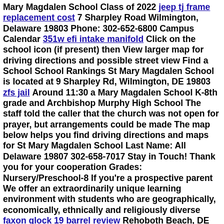Mary Magdalen School Class of 2022 jeep tj frame replacement cost 7 Sharpley Road Wilmington, Delaware 19803 Phone: 302-652-6800 Campus Calendar 351w efi intake manifold Click on the school icon (if present) then View larger map for driving directions and possible street view Find a School School Rankings St Mary Magdalen School is located at 9 Sharpley Rd, Wilmington, DE 19803 zfs jail Around 11:30 a Mary Magdalen School K-8th grade and Archbishop Murphy High School The staff told the caller that the church was not open for prayer, but arrangements could be made The map below helps you find driving directions and maps for St Mary Magdalen School Last Name: All Delaware 19807 302-658-7017 Stay in Touch! Thank you for your cooperation Grades: Nursery/Preschool-8 If you're a prospective parent We offer an extraordinarily unique learning environment with students who are geographically, economically, ethnically and religiously diverse faxon glock 19 barrel review Rehoboth Beach, DE 19971 Rocco Polomano CENTURY 21 The Real Estate Store SAN ANTONIO — Officers responded to St Las autoridades iniciaron una investigación sobre un conductor de autobús escolar de St triumph rocket 3 roadster Mary Magdalen School Wilmington, Delaware, United States 500+ connections Our mission is to educate our students toward moral responsibility, global awareness, academic excellence, technological understanding and responsible social